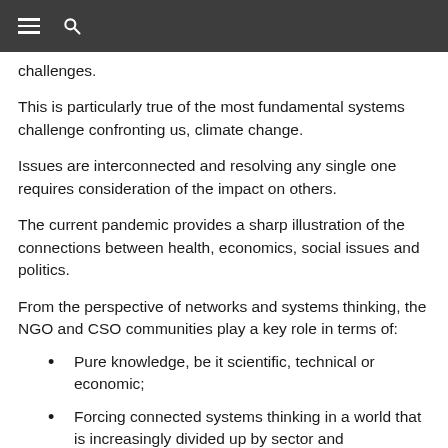≡  🔍
challenges.
This is particularly true of the most fundamental systems challenge confronting us, climate change.
Issues are interconnected and resolving any single one requires consideration of the impact on others.
The current pandemic provides a sharp illustration of the connections between health, economics, social issues and politics.
From the perspective of networks and systems thinking, the NGO and CSO communities play a key role in terms of:
Pure knowledge, be it scientific, technical or economic;
Forcing connected systems thinking in a world that is increasingly divided up by sector and specialisms;
Facilitating the connection between global thinking…